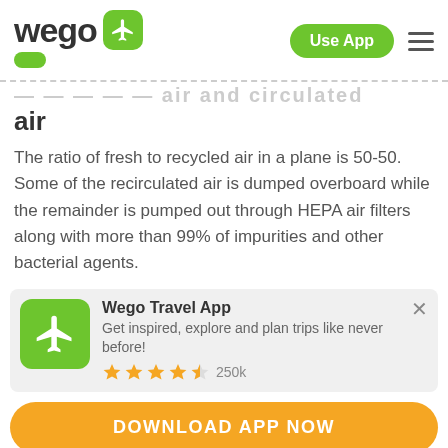wego — Use App
air
The ratio of fresh to recycled air in a plane is 50-50. Some of the recirculated air is dumped overboard while the remainder is pumped out through HEPA air filters along with more than 99% of impurities and other bacterial agents.
[Figure (infographic): Wego Travel App promotional banner with green airplane icon, title 'Wego Travel App', description 'Get inspired, explore and plan trips like never before!', 4.5 star rating, 250k reviews, and a close X button]
DOWNLOAD APP NOW